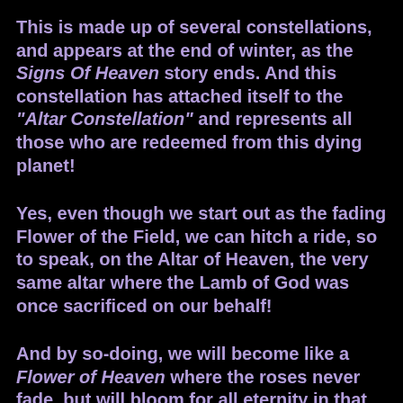This is made up of several constellations, and appears at the end of winter, as the Signs Of Heaven story ends. And this constellation has attached itself to the "Altar Constellation" and represents all those who are redeemed from this dying planet!
Yes, even though we start out as the fading Flower of the Field, we can hitch a ride, so to speak, on the Altar of Heaven, the very same altar where the Lamb of God was once sacrificed on our behalf!
And by so-doing, we will become like a Flower of Heaven where the roses never fade, but will bloom for all eternity in that beautiful Promised Land, a land overflowing with milk and honey!